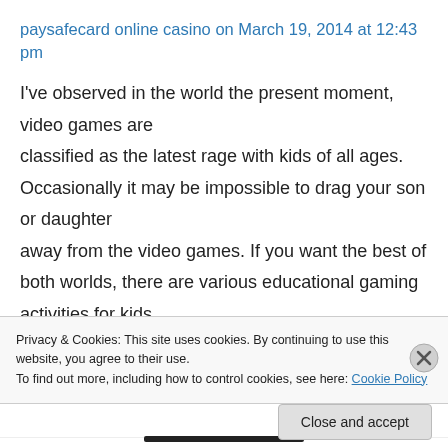paysafecard online casino on March 19, 2014 at 12:43 pm
I've observed in the world the present moment, video games are classified as the latest rage with kids of all ages. Occasionally it may be impossible to drag your son or daughter away from the video games. If you want the best of both worlds, there are various educational gaming activities for kids.
Privacy & Cookies: This site uses cookies. By continuing to use this website, you agree to their use.
To find out more, including how to control cookies, see here: Cookie Policy
Close and accept